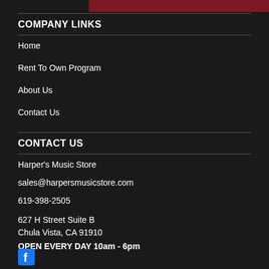[Figure (other): Dark red/maroon banner at top right]
COMPANY LINKS
Home
Rent To Own Program
About Us
Contact Us
CONTACT US
Harper's Music Store
sales@harpersmusicstore.com
619-398-2505
627 H Street Suite B
Chula Vista, CA 91910
OPEN EVERY DAY 10am - 6pm
[Figure (logo): Facebook icon/logo at bottom left]